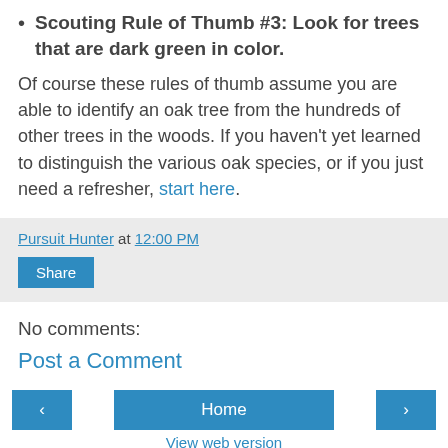Scouting Rule of Thumb #3: Look for trees that are dark green in color.
Of course these rules of thumb assume you are able to identify an oak tree from the hundreds of other trees in the woods. If you haven't yet learned to distinguish the various oak species, or if you just need a refresher, start here.
Pursuit Hunter at 12:00 PM
Share
No comments:
Post a Comment
Home
View web version